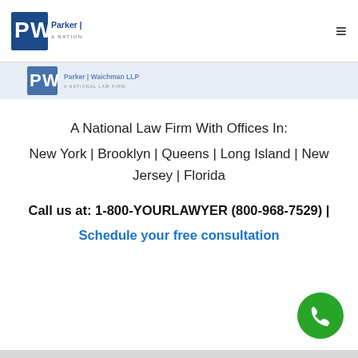Parker | Waichman LLP — A National Law Firm
[Figure (logo): Parker Waichman LLP logo with PW initials and tagline 'A National Law Firm']
A National Law Firm With Offices In:
New York | Brooklyn | Queens | Long Island | New Jersey | Florida
Call us at: 1-800-YOURLAWYER (800-968-7529) | Schedule your free consultation